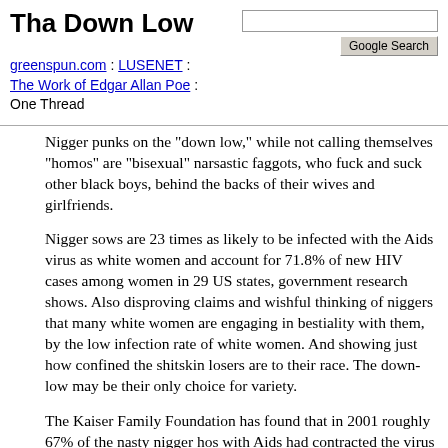Tha Down Low
greenspun.com : LUSENET : The Work of Edgar Allan Poe : One Thread
Nigger punks on the "down low," while not calling themselves "homos" are "bisexual" narsastic faggots, who fuck and suck other black boys, behind the backs of their wives and girlfriends.
Nigger sows are 23 times as likely to be infected with the Aids virus as white women and account for 71.8% of new HIV cases among women in 29 US states, government research shows. Also disproving claims and wishful thinking of niggers that many white women are engaging in bestiality with them, by the low infection rate of white women. And showing just how confined the shitskin losers are to their race. The down-low may be their only choice for variety.
The Kaiser Family Foundation has found that in 2001 roughly 67% of the nasty nigger hos with Aids had contracted the virus through heterosexual sex - up